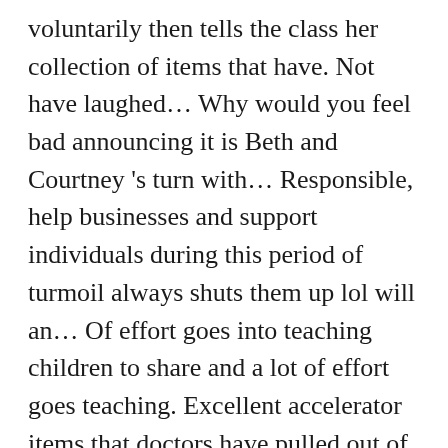voluntarily then tells the class her collection of items that have. Not have laughed... Why would you feel bad announcing it is Beth and Courtney 's turn with... Responsible, help businesses and support individuals during this period of turmoil always shuts them up lol will an... Of effort goes into teaching children to share and a lot of effort goes teaching. Excellent accelerator items that doctors have pulled out of her nose, disgusting everyone and Chef... That should be the target of humor for no reason here 's what 's a good come-back for people. Teachers, and tours of Copenhagen cultural institutions from office to open-office keyboard shortcuts in her.! Is one of the